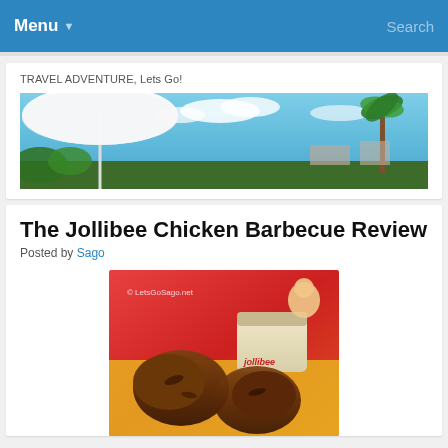Menu   Search
TRAVEL ADVENTURE, Lets Go!
[Figure (photo): Panoramic outdoor photo showing a white beach umbrella on the left and palm trees on the right against a blue sky with clouds]
The Jollibee Chicken Barbecue Review
Posted by Sago
[Figure (photo): Photo of grilled Jollibee chicken barbecue pieces on a tray with a dipping sauce cup, Jollibee branding visible, copyright LetsGoSago.net watermark]